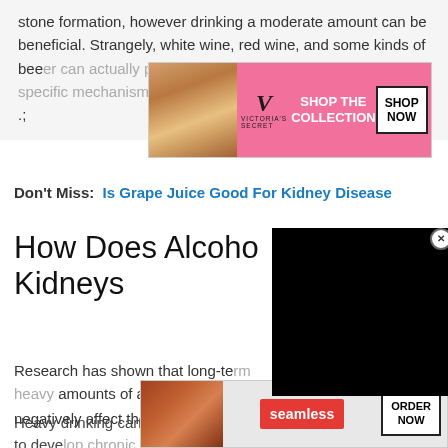stone formation, however drinking a moderate amount can be beneficial. Strangely, white wine, red wine, and some kinds of bee[r can actually protect against kidney s]tones. While t[he specific mechanism is unclear, drinking] alcohol at an excessive rate .;
[Figure (other): Victoria's Secret advertisement banner with pink background, VS logo, 'SHOP THE COLLECTION' text and 'SHOP NOW' button, woman photo on left]
Don't Miss:  Is Grape Juice Good For Kidney Disease
How Does Alcohol [Affect] Kidneys
[Figure (other): Black video player overlay rectangle covering right portion of the title/content area]
Research has shown that long-te[rm heavy drinking in large] amounts of alcohol can negatively affect the kidneys.10, 11
Heavy drinking can, over time, increase a person[s likeli]hood to deve[lop chronic kidney disease. Alco]hol conso[mption]
[Figure (other): Seamless food delivery advertisement with pizza photo, red Seamless badge, and ORDER NOW button]